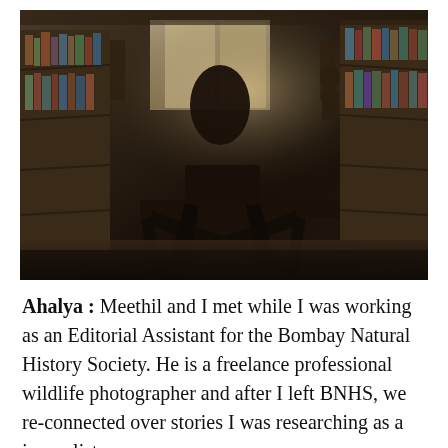[Figure (photo): Interior of a bookstore with dark wooden tables and chairs, bookshelves lining both sides, bright windows in the background, low-key lighting with warm tones.]
Ahalya : Meethil and I met while I was working as an Editorial Assistant for the Bombay Natural History Society. He is a freelance professional wildlife photographer and after I left BNHS, we re-connected over stories I was researching as a journalist.